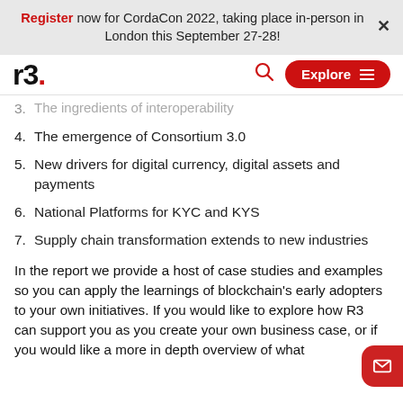Register now for CordaCon 2022, taking place in-person in London this September 27-28!
[Figure (logo): R3 logo with red dot]
3. The ingredients of interoperability (partial, cut off at top)
4. The emergence of Consortium 3.0
5. New drivers for digital currency, digital assets and payments
6. National Platforms for KYC and KYS
7. Supply chain transformation extends to new industries
In the report we provide a host of case studies and examples so you can apply the learnings of blockchain's early adopters to your own initiatives. If you would like to explore how R3 can support you as you create your own business case, or if you would like a more in depth overview of what